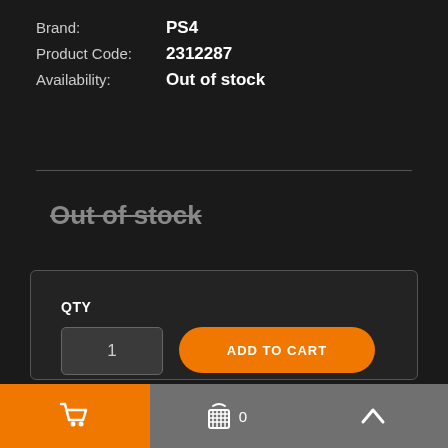Brand: PS4
Product Code: 2312287
Availability: Out of stock
Out of stock
QTY
1
ADD TO CART
ASK ABOUT THIS PRODUCT